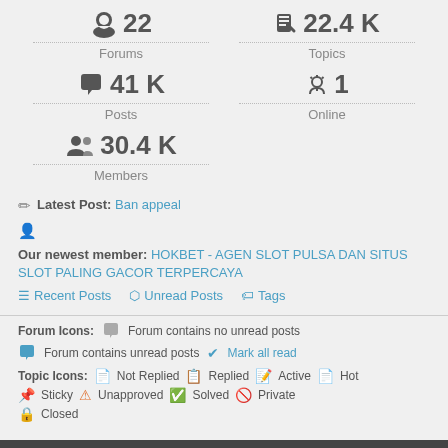22 Forums
22.4 K Topics
41 K Posts
1 Online
30.4 K Members
Latest Post: Ban appeal
Our newest member: HOKBET - AGEN SLOT PULSA DAN SITUS SLOT PALING GACOR TERPERCAYA
Recent Posts | Unread Posts | Tags
Forum Icons: Forum contains no unread posts | Forum contains unread posts | Mark all read
Topic Icons: Not Replied | Replied | Active | Hot | Sticky | Unapproved | Solved | Private | Closed